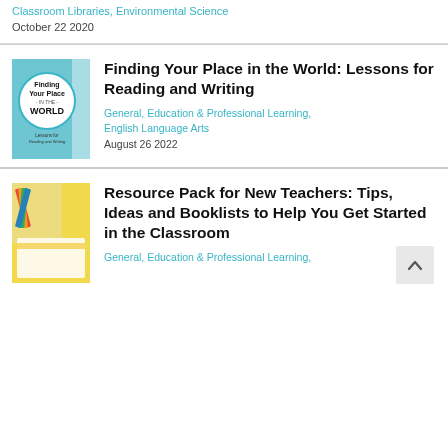Classroom Libraries, Environmental Science
October 22 2020
Finding Your Place in the World: Lessons for Reading and Writing
General, Education & Professional Learning, English Language Arts
August 26 2022
Resource Pack for New Teachers: Tips, Ideas and Booklists to Help You Get Started in the Classroom
General, Education & Professional Learning,